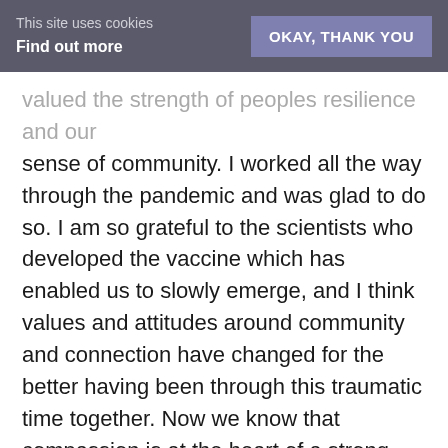This site uses cookies
Find out more
OKAY, THANK YOU
valued the strength of peoples resilience and our sense of community. I worked all the way through the pandemic and was glad to do so. I am so grateful to the scientists who developed the vaccine which has enabled us to slowly emerge, and I think values and attitudes around community and connection have changed for the better having been through this traumatic time together. Now we know that compassion is at the heart of a strong society.
I had been practicing mediation for decades and I went to an online retreat in 2020 with other